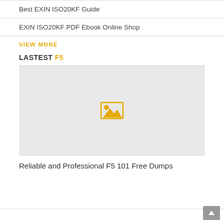Best EXIN ISO20KF Guide
EXIN ISO20KF PDF Ebook Online Shop
VIEW MORE
LASTEST F5
[Figure (illustration): Placeholder image icon with a landscape/photo symbol in orange/yellow on a light grey background]
Reliable and Professional F5 101 Free Dumps